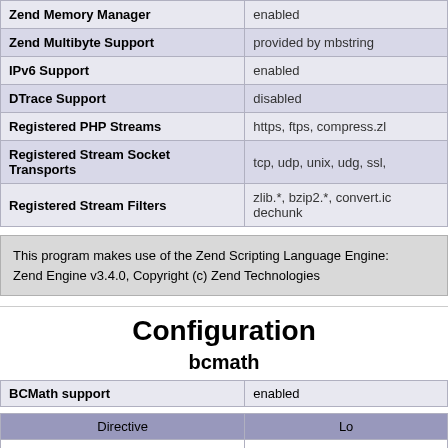| Feature | Value |
| --- | --- |
| Zend Memory Manager | enabled |
| Zend Multibyte Support | provided by mbstring |
| IPv6 Support | enabled |
| DTrace Support | disabled |
| Registered PHP Streams | https, ftps, compress.zl |
| Registered Stream Socket Transports | tcp, udp, unix, udg, ssl, |
| Registered Stream Filters | zlib.*, bzip2.*, convert.ic
dechunk |
This program makes use of the Zend Scripting Language Engine:
Zend Engine v3.4.0, Copyright (c) Zend Technologies
Configuration
bcmath
| BCMath support | enabled |
| --- | --- |
| Directive | Lo |
| --- | --- |
| bcmath.scale | 0 |